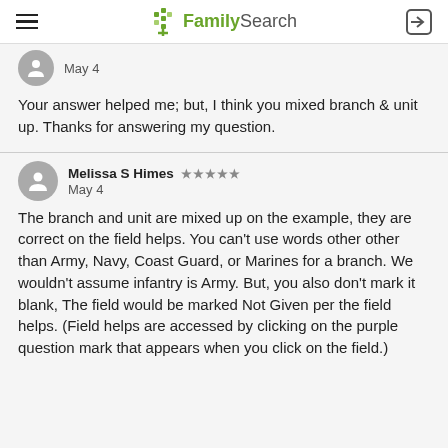FamilySearch
May 4
Your answer helped me; but, I think you mixed branch & unit up. Thanks for answering my question.
Melissa S Himes  ★★★★★
May 4
The branch and unit are mixed up on the example, they are correct on the field helps. You can't use words other other than Army, Navy, Coast Guard, or Marines for a branch. We wouldn't assume infantry is Army. But, you also don't mark it blank, The field would be marked Not Given per the field helps. (Field helps are accessed by clicking on the purple question mark that appears when you click on the field.)